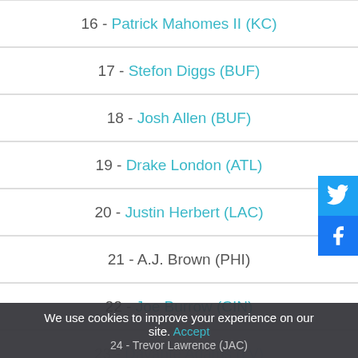16 - Patrick Mahomes II (KC)
17 - Stefon Diggs (BUF)
18 - Josh Allen (BUF)
19 - Drake London (ATL)
20 - Justin Herbert (LAC)
21 - A.J. Brown (PHI)
22 - Joe Burrow (CIN)
23 - Davante Adams (LV)
24 - Trevor Lawrence (JAC)
We use cookies to improve your experience on our site. Accept